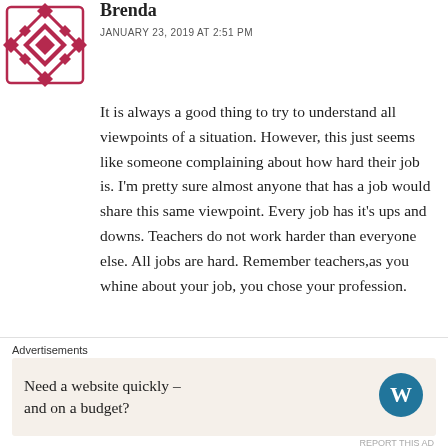[Figure (illustration): Diamond/geometric pattern avatar icon in dark red/maroon color]
Brenda
JANUARY 23, 2019 AT 2:51 PM
It is always a good thing to try to understand all viewpoints of a situation. However, this just seems like someone complaining about how hard their job is. I’m pretty sure almost anyone that has a job would share this same viewpoint. Every job has it’s ups and downs. Teachers do not work harder than everyone else. All jobs are hard. Remember teachers,as you whine about your job, you chose your profession.
Like
Advertisements
Need a website quickly – and on a budget?